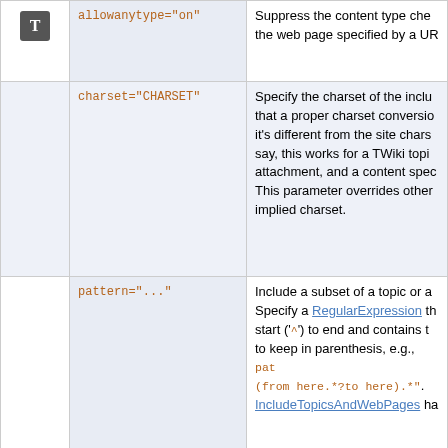|  | Parameter | Description |
| --- | --- | --- |
| T | allowanytype="on" | Suppress the content type check when including the web page specified by a URL |
|  | charset="CHARSET" | Specify the charset of the included topic so that a proper charset conversion is performed if it's different from the site charset. As you might say, this works for a TWiki topic file, a file attachment, and a content specified by a URL. This parameter overrides other methods of implied charset. |
|  | pattern="..." | Include a subset of a topic or a file. Specify a RegularExpression that starts from start ('^') to end and contains the text to keep in parenthesis, e.g., pat (from here.*?to here).*". IncludeTopicsAndWebPages ha |
|  | headingoffset="2" | Adjust the level of headings in the included topic. A "2" or "+2" increases the level, e.g. a ---+ H1 turns into a ---+++ and negative values are supported. The min and max levels are H1 and respectively. |